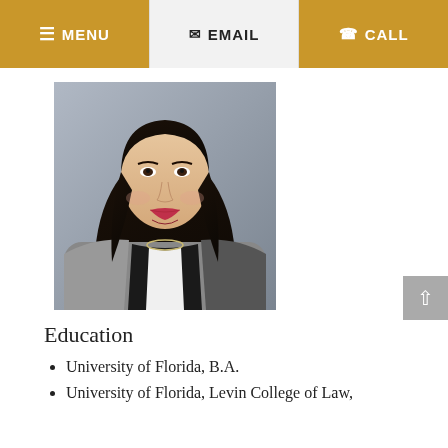≡ MENU  ✉ EMAIL  ☎ CALL
[Figure (photo): Professional headshot of a woman with long dark hair, wearing a blazer and necklace, smiling, against a gray background.]
Education
University of Florida, B.A.
University of Florida, Levin College of Law,